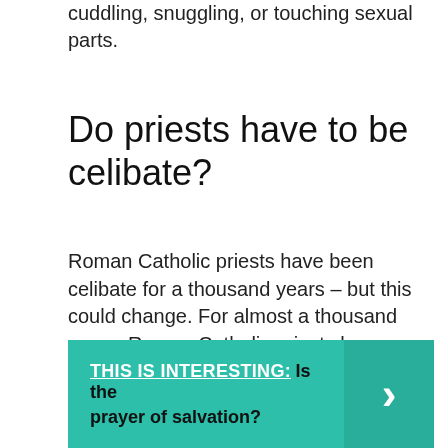cuddling, snuggling, or touching sexual parts.
Do priests have to be celibate?
Roman Catholic priests have been celibate for a thousand years – but this could change. For almost a thousand years, Roman Catholic priests have been required to be celibate. ... But for the best part of a millennium, celibacy has been required of priests in the Roman Catholic tradition.
THIS IS INTERESTING:  Is the prayer of salvation?